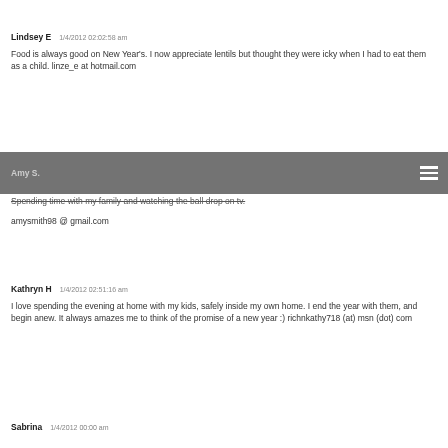Lindsey E    1/4/2012 02:02:58 am
Food is always good on New Year's. I now appreciate lentils but thought they were icky when I had to eat them as a child. linze_e at hotmail.com
Amy S.
Spending time with my family and watching the ball drop on tv.

amysmith98 @ gmail.com
Kathryn H    1/4/2012 02:51:16 am
I love spending the evening at home with my kids, safely inside my own home. I end the year with them, and begin anew. It always amazes me to think of the promise of a new year :) richnkathy718 (at) msn (dot) com
Sabrina